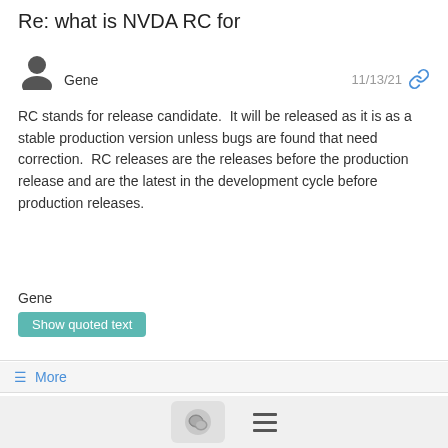Re: what is NVDA RC for
Gene   11/13/21
RC stands for release candidate.  It will be released as it is as a stable production version unless bugs are found that need correction.  RC releases are the releases before the production release and are the latest in the development cycle before production releases.
Gene
Show quoted text
≡ More
what is NVDA RC for
Eduardo Fermiano Luccas   11/13/21